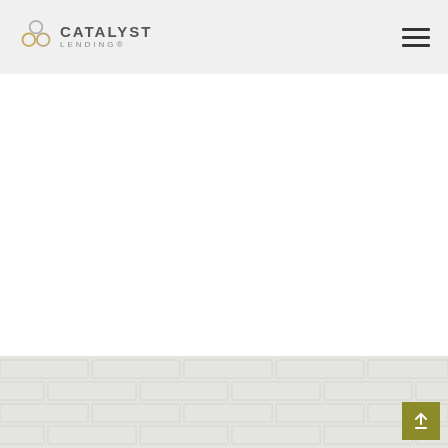Catalyst Lending
[Figure (illustration): White blank content area below the navigation header]
[Figure (photo): Light gray brick wall texture background at the bottom of the page, with a gold/olive square scroll-to-top button in the bottom right corner]